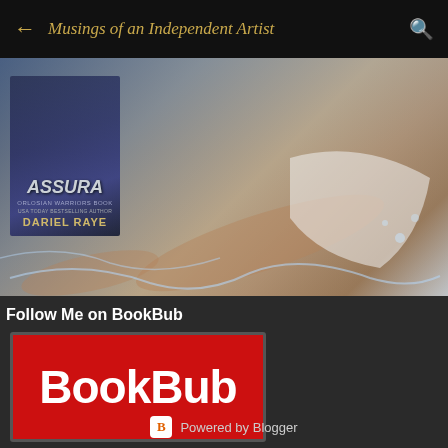← Musings of an Independent Artist 🔍
[Figure (photo): Book cover for 'Assured' by Dariel Raye (Orlosian Warriors series) overlaid on a photo of a woman in a white dress reclining in water splashes against a dark background]
Follow Me on BookBub
[Figure (logo): BookBub logo: white bold text 'BookBub' on a red rectangular background with a thin grey border]
Powered by Blogger